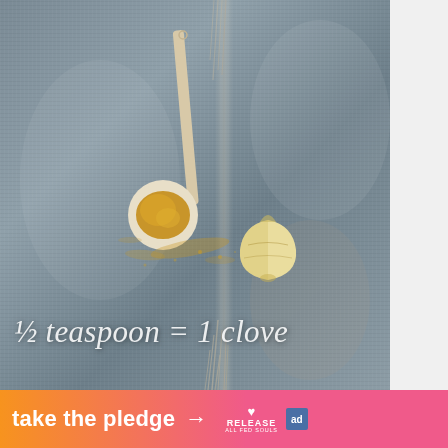[Figure (photo): Photo of a gray linen textile/cloth with frayed fringe in the center, with a wooden measuring spoon containing yellow/golden granular powder (garlic powder) and a single clove of garlic placed on the fabric. Yellow powder is scattered around the spoon.]
½ teaspoon = 1 clove
take the pledge →
[Figure (logo): Release logo with heart icon and text 'RELEASE' in white on pink/orange gradient banner background]
[Figure (logo): Small blue 'ad' square logo badge]
[Figure (logo): Gray dots logo (3x2 grid of gray circles) on light gray background panel on the right side]